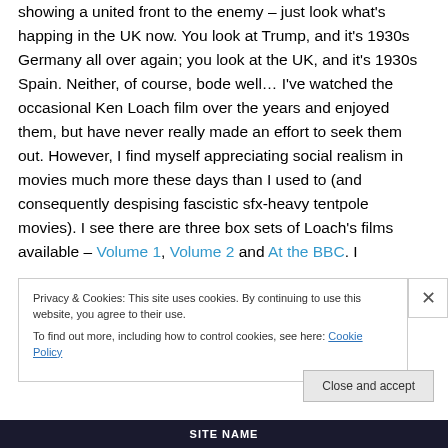showing a united front to the enemy – just look what's happing in the UK now. You look at Trump, and it's 1930s Germany all over again; you look at the UK, and it's 1930s Spain. Neither, of course, bode well… I've watched the occasional Ken Loach film over the years and enjoyed them, but have never really made an effort to seek them out. However, I find myself appreciating social realism in movies much more these days than I used to (and consequently despising fascistic sfx-heavy tentpole movies). I see there are three box sets of Loach's films available – Volume 1, Volume 2 and At the BBC. I
Privacy & Cookies: This site uses cookies. By continuing to use this website, you agree to their use.
To find out more, including how to control cookies, see here: Cookie Policy